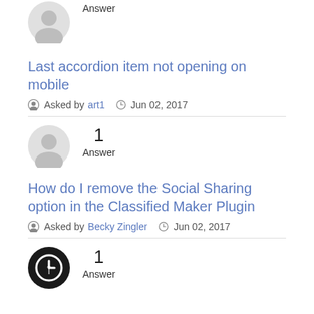Answer
Last accordion item not opening on mobile
Asked by art1  Jun 02, 2017
[Figure (illustration): Gray circular user avatar icon]
1
Answer
How do I remove the Social Sharing option in the Classified Maker Plugin
Asked by Becky Zingler  Jun 02, 2017
[Figure (illustration): Black circular avatar with white up-arrow U icon]
1
Answer